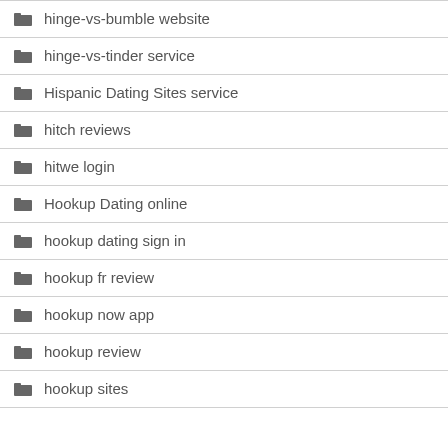hinge-vs-bumble website
hinge-vs-tinder service
Hispanic Dating Sites service
hitch reviews
hitwe login
Hookup Dating online
hookup dating sign in
hookup fr review
hookup now app
hookup review
hookup sites